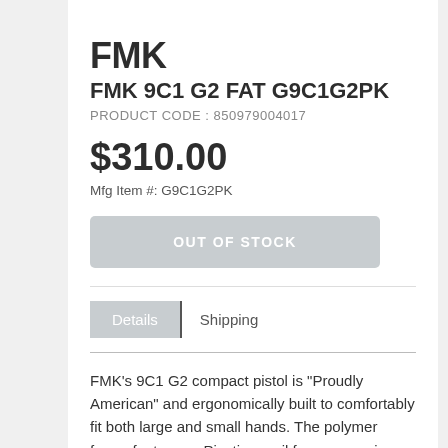FMK
FMK 9C1 G2 FAT G9C1G2PK
PRODUCT CODE : 850979004017
$310.00
Mfg Item #: G9C1G2PK
OUT OF STOCK
Details   Shipping
FMK's 9C1 G2 compact pistol is "Proudly American" and ergonomically built to comfortably fit both large and small hands. The polymer frame features a Picatinny rail for accessories, and has a rubberized backstrap